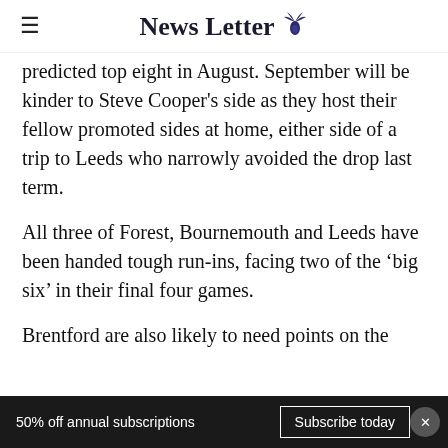News Letter
predicted top eight in August. September will be kinder to Steve Cooper's side as they host their fellow promoted sides at home, either side of a trip to Leeds who narrowly avoided the drop last term.
All three of Forest, Bournemouth and Leeds have been handed tough run-ins, facing two of the ‘big six’ in their final four games.
Brentford are also likely to need points on the
50% off annual subscriptions   Subscribe today